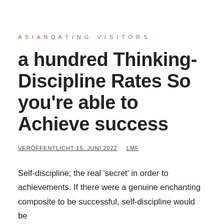ASIANDATING VISITORS
a hundred Thinking-Discipline Rates So you're able to Achieve success
VERÖFFENTLICHT 15. JUNI 2022   LMF
Self-discipline; the real 'secret' in order to achievements. If there were a genuine enchanting composite to be successful, self-discipline would be